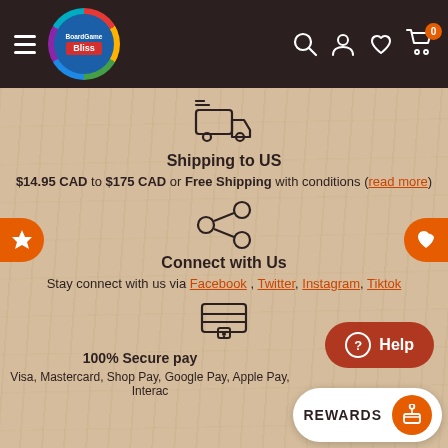[Figure (screenshot): BoardGame Bliss e-commerce website header with dark brown background, hamburger menu, colorful circular logo, search icon, user icon, heart icon, and shopping cart with badge showing 0]
[Figure (illustration): Fast delivery truck icon with speed lines]
Shipping to US
$14.95 CAD to $175 CAD or Free Shipping with conditions (read more)
[Figure (illustration): Share/connect network icon with three circles connected]
Connect with Us
Stay connect with us via Facebook , Twitter, Instagram, Tiktok
[Figure (illustration): Secure payment lock and card icon]
100% Secure pay
Visa, Mastercard, Shop Pay, Google Pay, Apple Pay, Interac